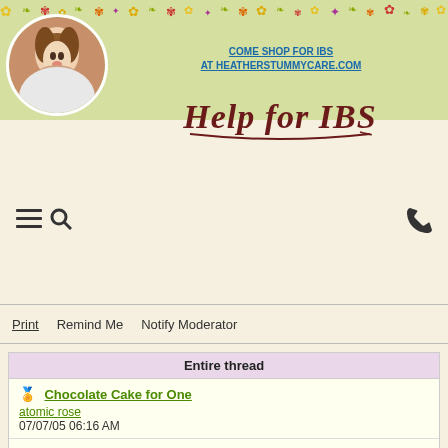COME SHOP FOR IBS AT HEATHERSTUMMYCARE.COM
Help for IBS
Print   Remind Me   Notify Moderator
Entire thread
Chocolate Cake for One
atomic rose
07/07/05 06:16 AM
Re: Chocolate Cake for One
Cyndy
04/18/11 06:15 AM
No, but...
Heather
04/18/11 02:54 PM